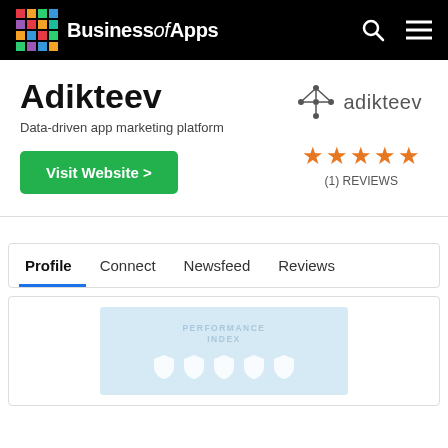BusinessofApps
Adikteev
Data-driven app marketing platform
Visit Website >
[Figure (logo): Adikteev brand logo with network graph icon and text]
(1) REVIEWS
Profile   Connect   Newsfeed   Reviews
[Figure (illustration): Performance Index illustration with award icons on light blue background]